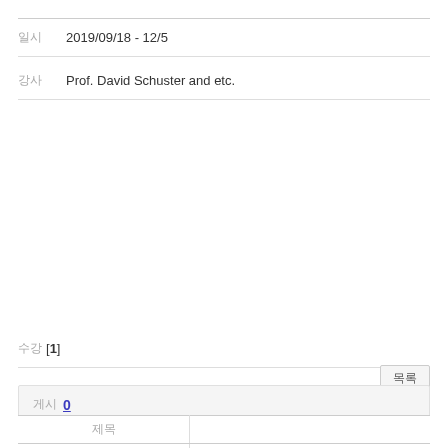| 일시 | 2019/09/18 - 12/5 |
| 강사 | Prof. David Schuster and etc. |
수강 [1]
목록
게시 0
| 제목 |
| --- |
| Topological
Dynamics |  |